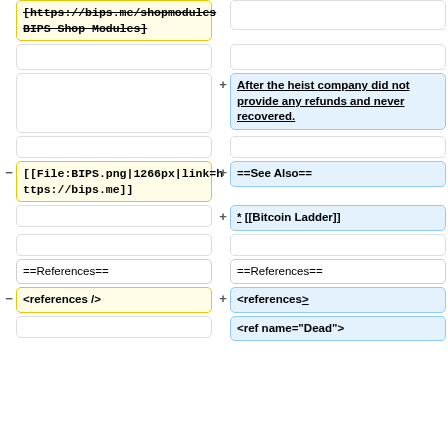[https://bips.me/shopmodules BIPS Shop Modules] (removed/strikethrough, yellow)
After the heist company did not provide any refunds and never recovered. (added, blue, bold underline)
[[File:BIPS.png|1266px|link=https://bips.me]] (removed, yellow)
==See Also== (added, blue)
* [[Bitcoin Ladder]] (added, blue)
==References== (both sides)
<references /> (removed, yellow)
<references> (added, blue)
<ref name="Dead"> (added, blue)